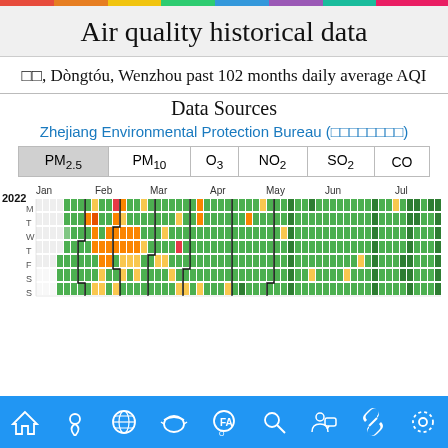Air quality historical data
□□, Dòngtóu, Wenzhou past 102 months daily average AQI
Data Sources
Zhejiang Environmental Protection Bureau (□□□□□□□□)
| PM2.5 | PM10 | O3 | NO2 | SO2 | CO |
| --- | --- | --- | --- | --- | --- |
[Figure (other): Calendar heatmap of daily AQI data for Dongtou Wenzhou from Jan 2022 onwards, showing colored cells (green, yellow, orange, red) representing air quality levels for each day of the week across months Jan through Jul 2022]
Navigation bar with home, location, globe, mask, FAQ, search, person, link, settings icons